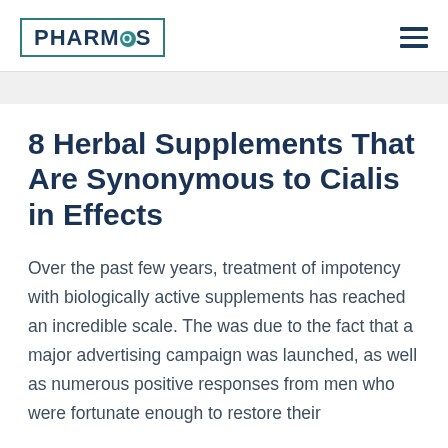PHARMOS
8 Herbal Supplements That Are Synonymous to Cialis in Effects
Over the past few years, treatment of impotency with biologically active supplements has reached an incredible scale. The was due to the fact that a major advertising campaign was launched, as well as numerous positive responses from men who were fortunate enough to restore their